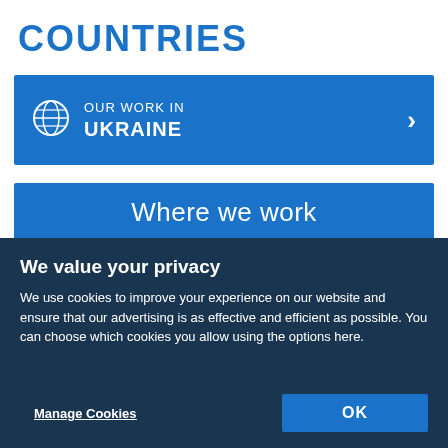COUNTRIES
OUR WORK IN
UKRAINE
Where we work
We value your privacy
We use cookies to improve your experience on our website and ensure that our advertising is as effective and efficient as possible. You can choose which cookies you allow using the options here.
Manage Cookies
OK